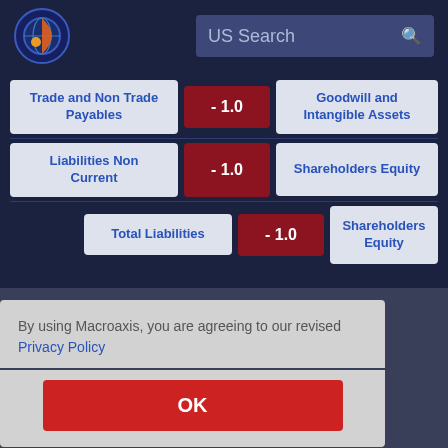US Search
| Item | Value | Related |
| --- | --- | --- |
| Trade and Non Trade Payables | - 1.0 | Goodwill and Intangible Assets |
| Liabilities Non Current | - 1.0 | Shareholders Equity |
| Total Liabilities | - 1.0 | Shareholders Equity |
By using Macroaxis, you are agreeing to our revised Privacy Policy
OK